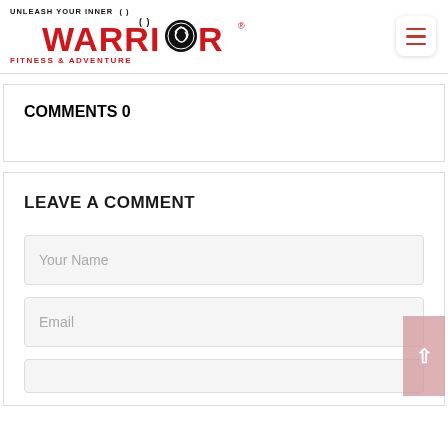[Figure (logo): Warrior Fitness & Adventure logo with red text and circular Celtic emblem, hamburger menu button top right]
COMMENTS 0
LEAVE A COMMENT
Your Name
Email